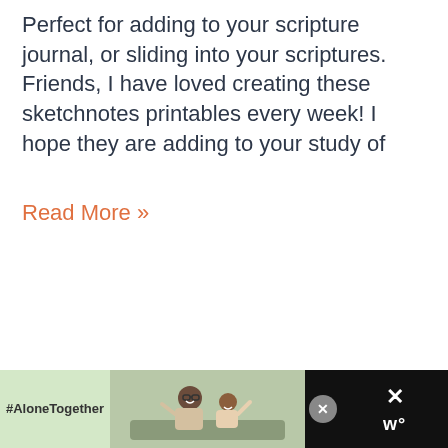Perfect for adding to your scripture journal, or sliding into your scriptures. Friends, I have loved creating these sketchnotes printables every week! I hope they are adding to your study of
Read More »
[Figure (infographic): Advertisement banner at bottom of page. Dark background with green section showing '#AloneTogether' text, a photo of a man and child waving, a close button (X), and brand marks on the right.]